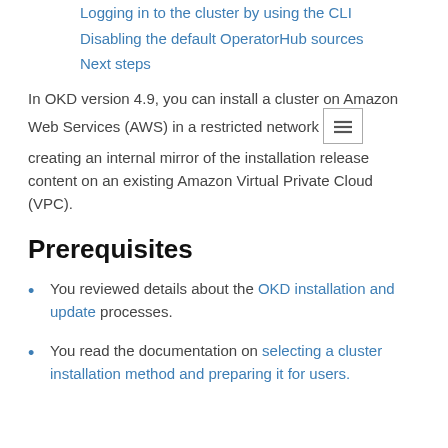Logging in to the cluster by using the CLI
Disabling the default OperatorHub sources
Next steps
In OKD version 4.9, you can install a cluster on Amazon Web Services (AWS) in a restricted network creating an internal mirror of the installation release content on an existing Amazon Virtual Private Cloud (VPC).
Prerequisites
You reviewed details about the OKD installation and update processes.
You read the documentation on selecting a cluster installation method and preparing it for users.